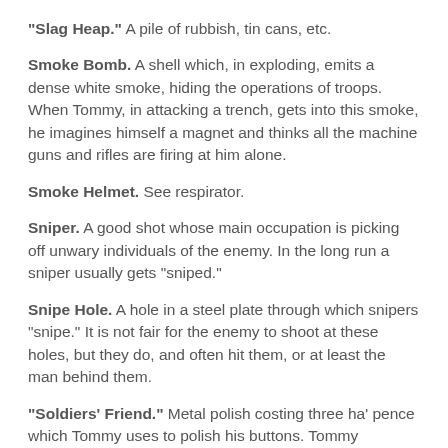"Slag Heap." A pile of rubbish, tin cans, etc.
Smoke Bomb. A shell which, in exploding, emits a dense white smoke, hiding the operations of troops. When Tommy, in attacking a trench, gets into this smoke, he imagines himself a magnet and thinks all the machine guns and rifles are firing at him alone.
Smoke Helmet. See respirator.
Sniper. A good shot whose main occupation is picking off unwary individuals of the enemy. In the long run a sniper usually gets "sniped."
Snipe Hole. A hole in a steel plate through which snipers "snipe." It is not fair for the enemy to shoot at these holes, but they do, and often hit them, or at least the man behind them.
"Soldiers' Friend." Metal polish costing three ha' pence which Tommy uses to polish his buttons. Tommy wonders why it is called "Soldiers' Friend."